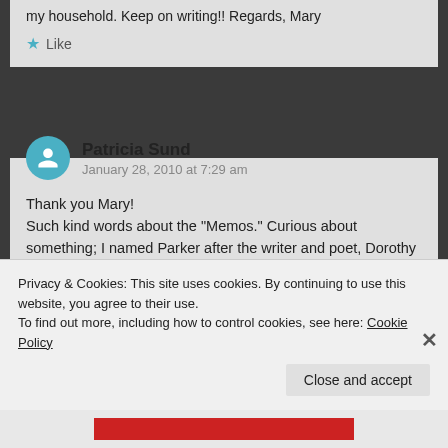my household. Keep on writing!! Regards, Mary
Like
Patricia Sund
January 28, 2010 at 7:29 am
Thank you Mary! Such kind words about the "Memos." Curious about something; I named Parker after the writer and poet, Dorothy Parker. Did you name Dickens after the writer, Charles Dickens? Dickens sounds wonderful! I hope he doesn't have to "hold it" for that much time very often. I
Privacy & Cookies: This site uses cookies. By continuing to use this website, you agree to their use.
To find out more, including how to control cookies, see here: Cookie Policy
Close and accept